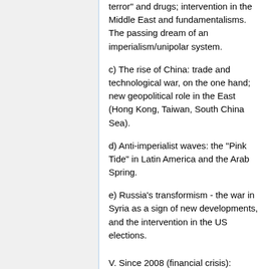terror" and drugs; intervention in the Middle East and fundamentalisms. The passing dream of an imperialism/unipolar system.
c) The rise of China: trade and technological war, on the one hand; new geopolitical role in the East (Hong Kong, Taiwan, South China Sea).
d) Anti-imperialist waves: the "Pink Tide" in Latin America and the Arab Spring.
e) Russia's transformism - the war in Syria as a sign of new developments, and the intervention in the US elections.
V. Since 2008 (financial crisis): changes in the world situation
a) Brexit, Trump and the new global extreme right. Bolsonaro, Duterte, Modi, Duda, Orban - what do they mean?